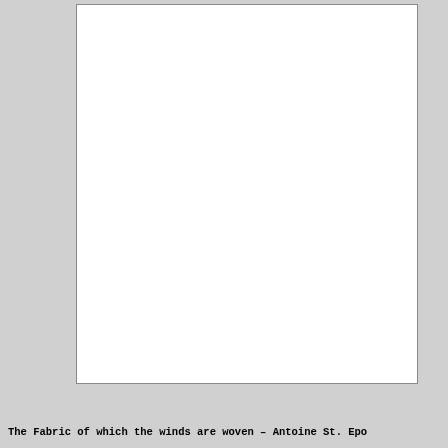[Figure (other): A large blank white rectangle with a thin border, occupying most of the upper portion of the page. No visible content inside.]
The Fabric of which the winds are woven – Antoine St. Epo